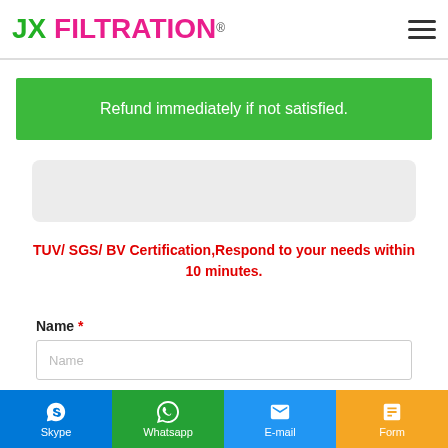JX FILTRATION®
Refund immediately if not satisfied.
[Figure (other): Light gray rounded rectangle placeholder/image area]
TUV/ SGS/ BV Certification,Respond to your needs within 10 minutes.
Name *
Name (input placeholder)
Skype | Whatsapp | E-mail | Form